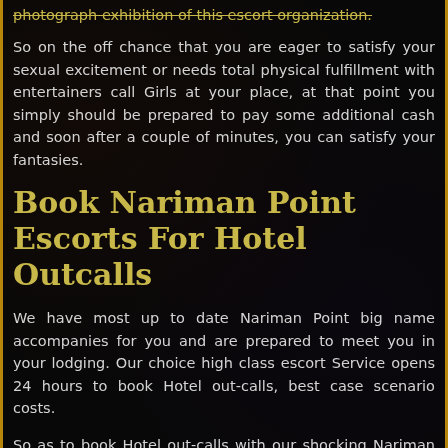photograph exhibition of this escort organization.
So on the off chance that you are eager to satisfy your sexual excitement or needs total physical fulfillment with entertainers call Girls at your place, at that point you simply should be prepared to pay some additional cash and soon after a couple of minutes, you can satisfy your fantasies.
Book Nariman Point Escorts For Hotel Outcalls
We have most up to date Nariman Point big name accompanies for you and are prepared to meet you in your lodging. Our choice high class escort Service opens 24 hours to book Hotel out-calls, best case scenario costs.
So as to book Hotel out-calls with our shocking Nariman Point Escorts you should simply to give your fundamental data like Name, Versatile Number, Lodging Number, Hotel Name and Hotel Address. When you complete this essential advance ,